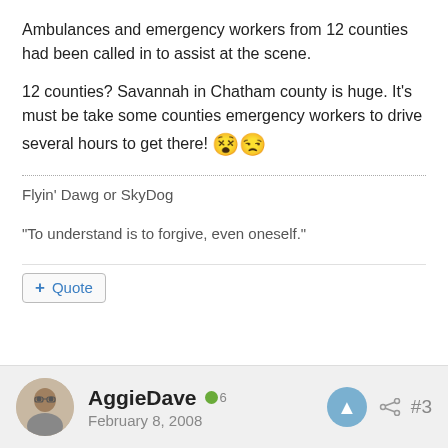Ambulances and emergency workers from 12 counties had been called in to assist at the scene.
12 counties? Savannah in Chatham county is huge. It's must be take some counties emergency workers to drive several hours to get there! 😵😒
Flyin' Dawg or SkyDog
"To understand is to forgive, even oneself."
+ Quote
AggieDave  6
February 8, 2008
#3